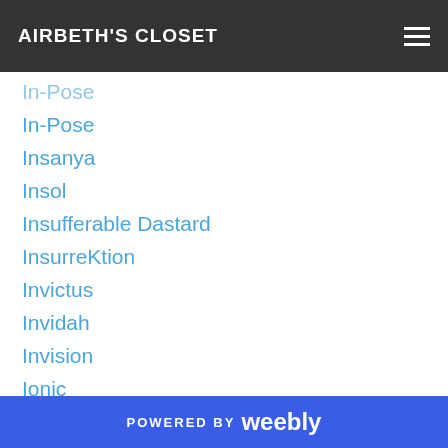AIRBETH'S CLOSET
In-Pose
Insanya
Insol
Insufferable Dastard
InsurreKtion
Invictus
Invidah
Invision
Ionic
IOS
Iron Claw
Ironwood Hills
Irrie's DOLLHOUSE
Iruco
POWERED BY weebly